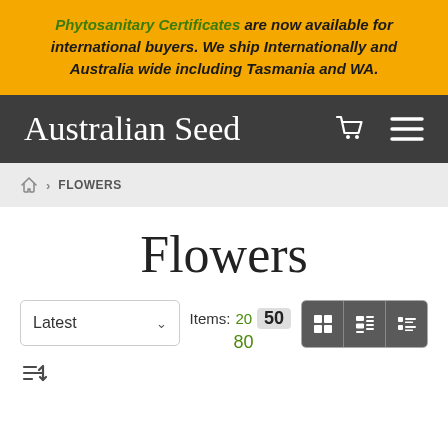Phytosanitary Certificates are now available for international buyers. We ship Internationally and Australia wide including Tasmania and WA.
Australian Seed
HOME > FLOWERS
Flowers
Latest  Items: 20  50  80